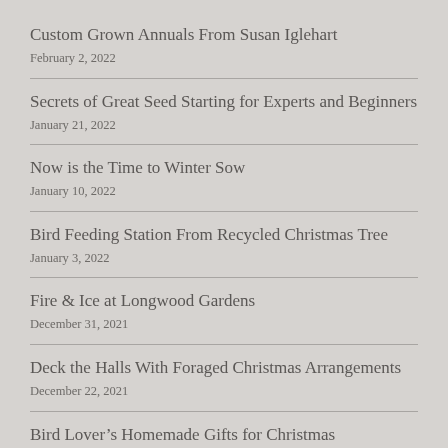Custom Grown Annuals From Susan Iglehart
February 2, 2022
Secrets of Great Seed Starting for Experts and Beginners
January 21, 2022
Now is the Time to Winter Sow
January 10, 2022
Bird Feeding Station From Recycled Christmas Tree
January 3, 2022
Fire & Ice at Longwood Gardens
December 31, 2021
Deck the Halls With Foraged Christmas Arrangements
December 22, 2021
Bird Lover's Homemade Gifts for Christmas